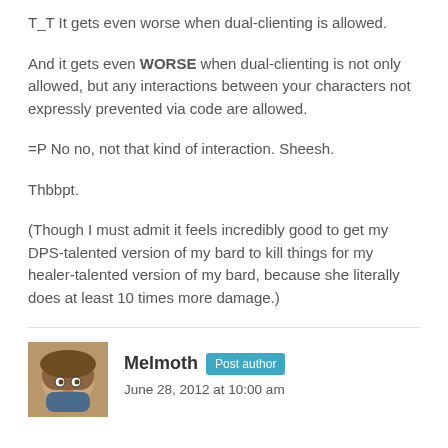T_T It gets even worse when dual-clienting is allowed.
And it gets even WORSE when dual-clienting is not only allowed, but any interactions between your characters not expressly prevented via code are allowed.
=P No no, not that kind of interaction. Sheesh.
Thbbpt.
(Though I must admit it feels incredibly good to get my DPS-talented version of my bard to kill things for my healer-talented version of my bard, because she literally does at least 10 times more damage.)
Melmoth Post author June 28, 2012 at 10:00 am